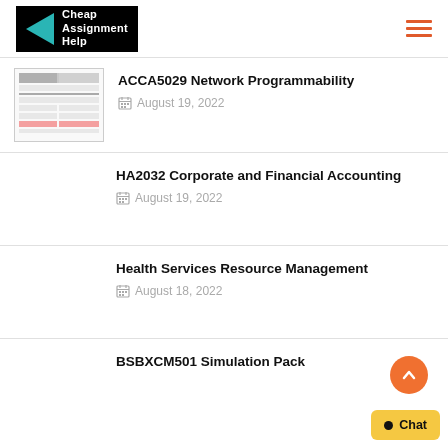[Figure (logo): Cheap Assignment Help logo with teal triangle on black background]
ACCA5029 Network Programmability
August 19, 2022
HA2032 Corporate and Financial Accounting
August 19, 2022
Health Services Resource Management
August 18, 2022
BSBXCM501 Simulation Pack